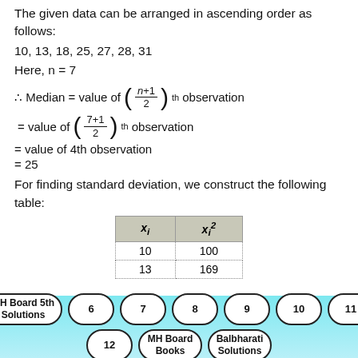The given data can be arranged in ascending order as follows:
10, 13, 18, 25, 27, 28, 31
Here, n = 7
For finding standard deviation, we construct the following table:
| x_i | x_i^2 |
| --- | --- |
| 10 | 100 |
| 13 | 169 |
MH Board 5th Solutions  6  7  8  9  10  11  12  MH Board Books  Balbharati Solutions